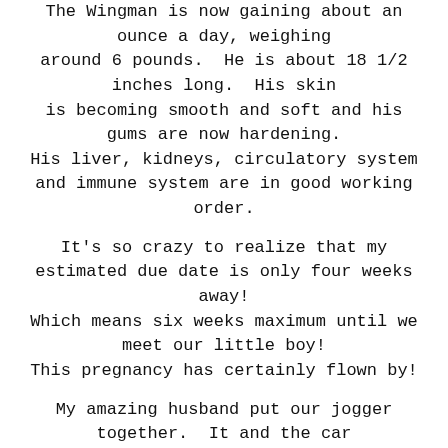The Wingman is now gaining about an ounce a day, weighing around 6 pounds.  He is about 18 1/2 inches long.  His skin is becoming smooth and soft and his gums are now hardening. His liver, kidneys, circulatory system and immune system are in good working order.
It's so crazy to realize that my estimated due date is only four weeks away! Which means six weeks maximum until we meet our little boy! This pregnancy has certainly flown by!
My amazing husband put our jogger together.  It and the car